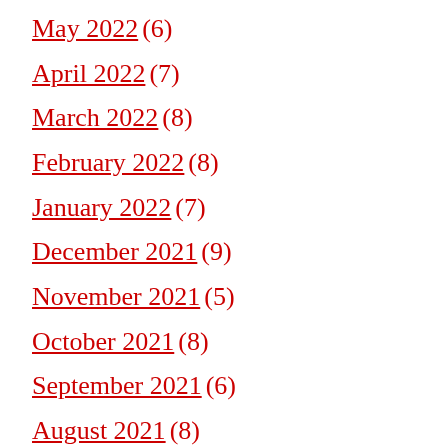May 2022 (6)
April 2022 (7)
March 2022 (8)
February 2022 (8)
January 2022 (7)
December 2021 (9)
November 2021 (5)
October 2021 (8)
September 2021 (6)
August 2021 (8)
July 2021 (8)
June 2021 (9)
May 2021 (5)